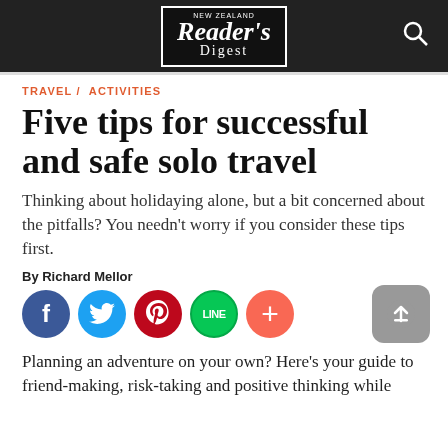NEW ZEALAND Reader's Digest
TRAVEL / ACTIVITIES
Five tips for successful and safe solo travel
Thinking about holidaying alone, but a bit concerned about the pitfalls? You needn't worry if you consider these tips first.
By Richard Mellor
[Figure (infographic): Social media share buttons: Facebook, Twitter, Pinterest, LINE, plus button, and an upload/share arrow button on the right]
Planning an adventure on your own? Here's your guide to friend-making, risk-taking and positive thinking while